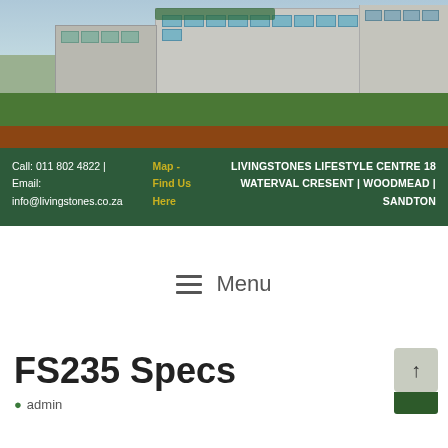[Figure (photo): Exterior photograph of Livingstones Lifestyle Centre building with green lawn and parking area in foreground]
Call: 011 802 4822 | Map - LIVINGSTONES LIFESTYLE CENTRE 18
Email: Find Us WATERVAL CRESENT | WOODMEAD |
info@livingstones.co.za Here SANDTON
Menu
FS235 Specs
admin